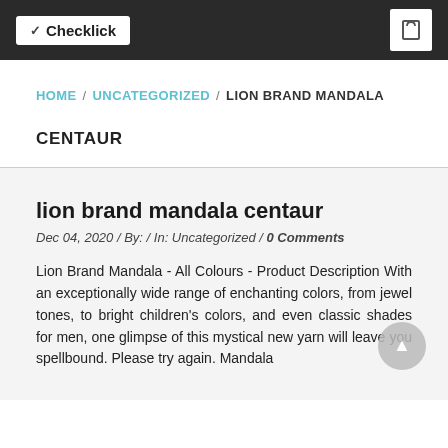Checklick
HOME / UNCATEGORIZED / LION BRAND MANDALA
CENTAUR
lion brand mandala centaur
Dec 04, 2020 / By: / In: Uncategorized / 0 Comments
Lion Brand Mandala - All Colours - Product Description With an exceptionally wide range of enchanting colors, from jewel tones, to bright children's colors, and even classic shades for men, one glimpse of this mystical new yarn will leave you spellbound. Please try again. Mandala